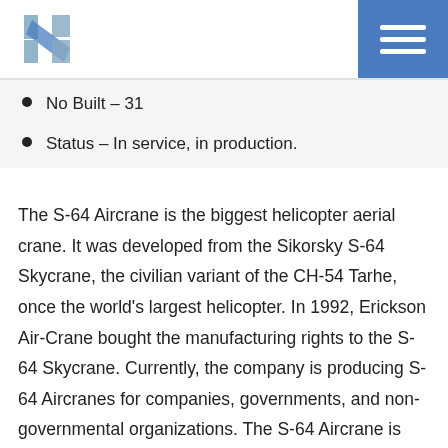[Figure (logo): Stylized letter H logo in blue-grey tones]
No Built – 31
Status – In service, in production.
The S-64 Aircrane is the biggest helicopter aerial crane. It was developed from the Sikorsky S-64 Skycrane, the civilian variant of the CH-54 Tarhe, once the world's largest helicopter. In 1992, Erickson Air-Crane bought the manufacturing rights to the S-64 Skycrane. Currently, the company is producing S-64 Aircranes for companies, governments, and non-governmental organizations. The S-64 Aircrane is